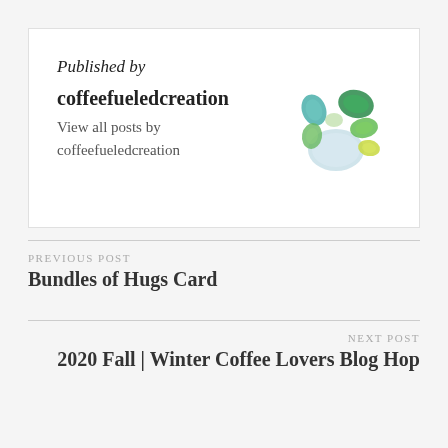Published by
coffeefueledcreation
View all posts by coffeefueledcreation
[Figure (illustration): A circular avatar image showing watercolor painted green and teal sea glass pebbles arranged in a cluster]
PREVIOUS POST
Bundles of Hugs Card
NEXT POST
2020 Fall | Winter Coffee Lovers Blog Hop